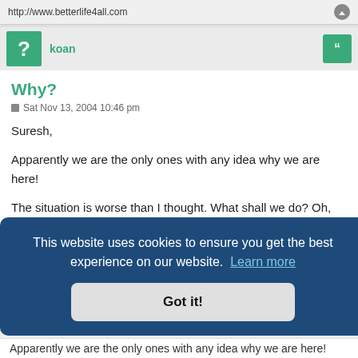http://www.betterlife4all.com
koan
Why?
Sat Nov 13, 2004 10:46 pm
Suresh,

Apparently we are the only ones with any idea why we are here!

The situation is worse than I thought. What shall we do? Oh, yes we are starting a path...but what if no one follows? At least you and I might get somewhere. :yh_giggle
This website uses cookies to ensure you get the best experience on our website. Learn more
Got it!
Apparently we are the only ones with any idea why we are here!